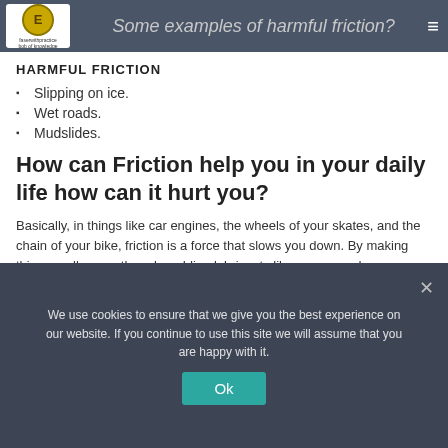Some examples of harmful friction?
HARMFUL FRICTION
Slipping on ice.
Wet roads.
Mudslides.
How can Friction help you in your daily life how can it hurt you?
Basically, in things like car engines, the wheels of your skates, and the chain of your bike, friction is a force that slows you down. By making things really smooth, or by adding lubricants like grease and
We use cookies to ensure that we give you the best experience on our website. If you continue to use this site we will assume that you are happy with it.